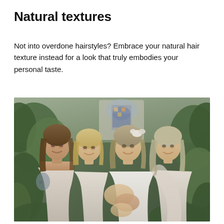Natural textures
Not into overdone hairstyles? Embrace your natural hair texture instead for a look that truly embodies your personal taste.
[Figure (photo): Four young women in light-colored dresses posing together outdoors in a garden-like setting with lush greenery and a decorative architectural element in the background. One woman appears to be the bride in a white dress with flowers in her hair; the others are bridesmaids. They are smiling and embracing.]